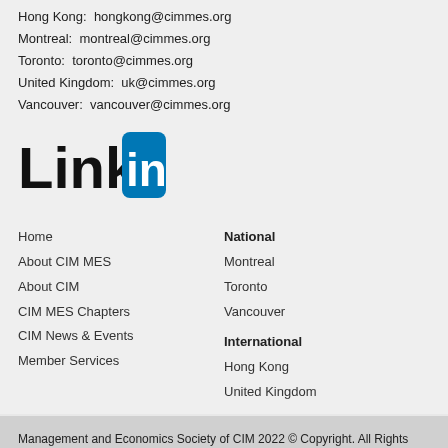Hong Kong: hongkong@cimmes.org
Montreal: montreal@cimmes.org
Toronto: toronto@cimmes.org
United Kingdom: uk@cimmes.org
Vancouver: vancouver@cimmes.org
[Figure (logo): LinkedIn logo — 'Linked' in black bold text followed by 'in' in white on a blue rounded square background]
Home
About CIM MES
About CIM
CIM MES Chapters
CIM News & Events
Member Services
National
Montreal
Toronto
Vancouver
International
Hong Kong
United Kingdom
Management and Economics Society of CIM 2022 © Copyright. All Rights Reserved.
Website development by Unique Web Design Inc. / Managed IT services by 247 Networks Ltd.